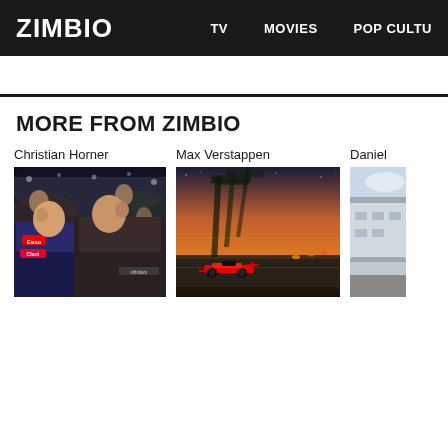ZIMBIO   TV   MOVIES   POP CULTU
MORE FROM ZIMBIO
Christian Horner
[Figure (photo): Christian Horner and Max Verstappen celebrating with crowd, Red Bull Racing team, Esso and Claró logos visible on racing suit]
Max Verstappen
[Figure (photo): Max Verstappen Red Bull Formula 1 car racing at sunset, motion-blurred palm trees in background]
Daniel
[Figure (photo): Partially visible photo, appears to show a car or vehicle near a building]